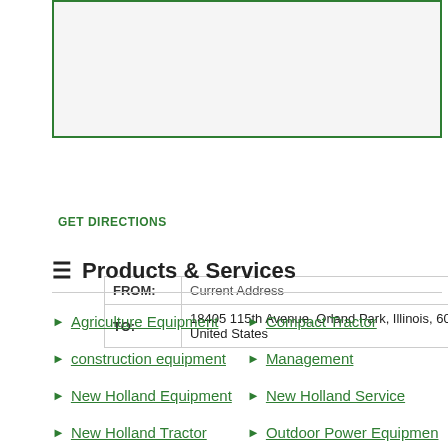[Figure (map): Map area with green border showing geographic location]
| FROM: | Current Address |
| TO: | 18405 115th Avenue, Orland Park, Illinois, 60467, United States |
GET DIRECTIONS
Products & Services
Agriculture Equipment
Compact Tractor
construction equipment
Management
New Holland Equipment
New Holland Service
New Holland Tractor
Outdoor Power Equipmen